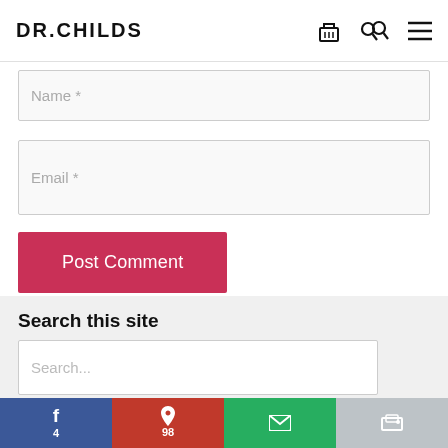DR.CHILDS
Name *
Email *
Post Comment
Search this site
Search...
f 4
P 98
email icon
print icon